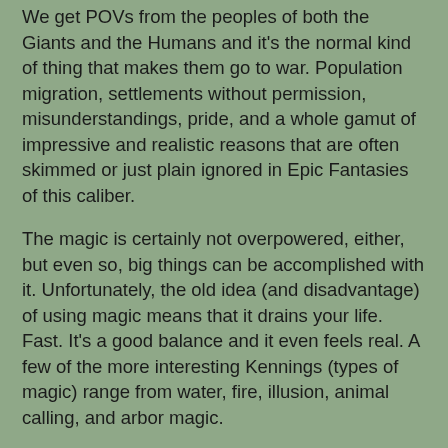We get POVs from the peoples of both the Giants and the Humans and it's the normal kind of thing that makes them go to war. Population migration, settlements without permission, misunderstandings, pride, and a whole gamut of impressive and realistic reasons that are often skimmed or just plain ignored in Epic Fantasies of this caliber.
The magic is certainly not overpowered, either, but even so, big things can be accomplished with it. Unfortunately, the old idea (and disadvantage) of using magic means that it drains your life. Fast. It's a good balance and it even feels real. A few of the more interesting Kennings (types of magic) range from water, fire, illusion, animal calling, and arbor magic.
Just imagine Bards and Skalds and a mix of Icelandic and Germanic peoples, with Dirges, bonfires, and the whole feel of Vinland mixed with the Druidic order, Volcanic peoples, and the drive to find and understand the missing Kennings, the far-off lands, the Abyss that separates nations... and you'll get a very nice feel for this book. :)
I really had a good time. Hearne has always stood out in my mind for his quicksilver grasp of mythology and history and